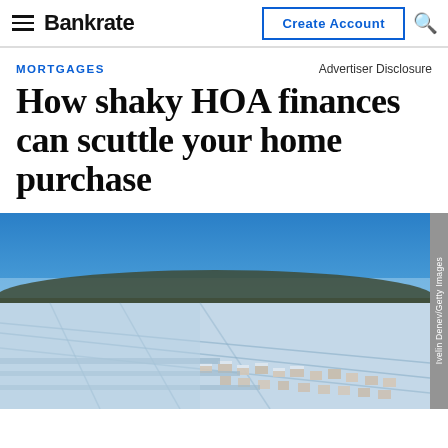Bankrate | Create Account
MORTGAGES
Advertiser Disclosure
How shaky HOA finances can scuttle your home purchase
[Figure (photo): Aerial winter drone view of a suburban neighborhood with snow-covered rooftops, streets, and fields under a clear blue sky. Ivelin Denev/Getty Images]